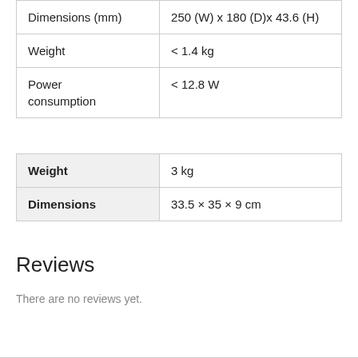| Dimensions (mm) | 250 (W) x 180 (D)x 43.6 (H) |
| Weight | < 1.4 kg |
| Power consumption | < 12.8 W |
| Weight | 3 kg |
| Dimensions | 33.5 × 35 × 9 cm |
Reviews
There are no reviews yet.